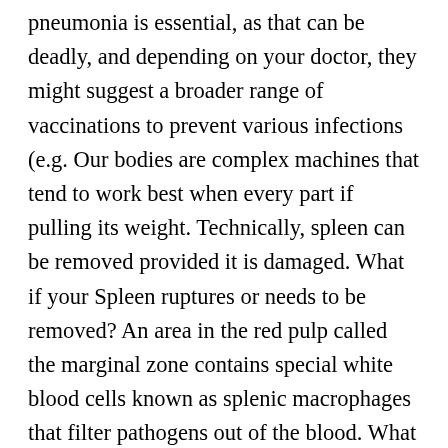pneumonia is essential, as that can be deadly, and depending on your doctor, they might suggest a broader range of vaccinations to prevent various infections (e.g. Our bodies are complex machines that tend to work best when every part if pulling its weight. Technically, spleen can be removed provided it is damaged. What if your Spleen ruptures or needs to be removed? An area in the red pulp called the marginal zone contains special white blood cells known as splenic macrophages that filter pathogens out of the blood. What are the long-lasting effects of COVID-19? This is likely because the other lymphoid tissues in the body are able to produce an adequate response. What Is The Huntsman Spider? John Stoughton